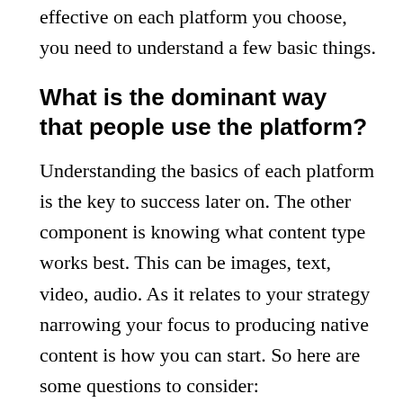effective on each platform you choose, you need to understand a few basic things.
What is the dominant way that people use the platform?
Understanding the basics of each platform is the key to success later on. The other component is knowing what content type works best. This can be images, text, video, audio. As it relates to your strategy narrowing your focus to producing native content is how you can start. So here are some questions to consider: